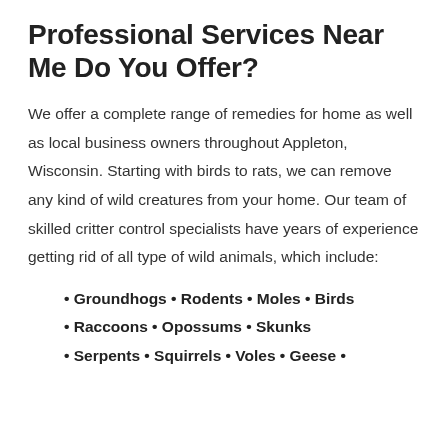Professional Services Near Me Do You Offer?
We offer a complete range of remedies for home as well as local business owners throughout Appleton, Wisconsin. Starting with birds to rats, we can remove any kind of wild creatures from your home. Our team of skilled critter control specialists have years of experience getting rid of all type of wild animals, which include:
• Groundhogs • Rodents • Moles • Birds
• Raccoons • Opossums • Skunks
• Serpents • Squirrels • Voles • Geese •